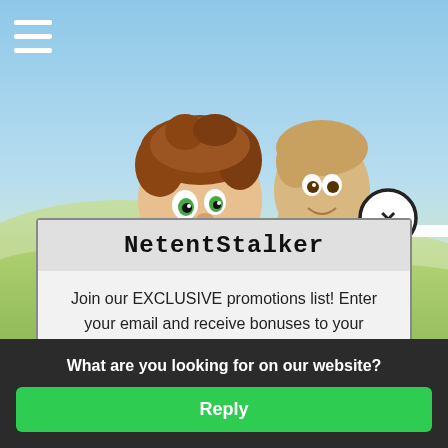[Figure (screenshot): Background showing an animated game scene with sky, rolling green hills, and two cartoon child characters peeking over a white surface. A hamburger menu icon appears top-left in white.]
NetentStalker
Join our EXCLUSIVE promotions list! Enter your email and receive bonuses to your inbox!
Email
What are you looking for on our website?
Reply